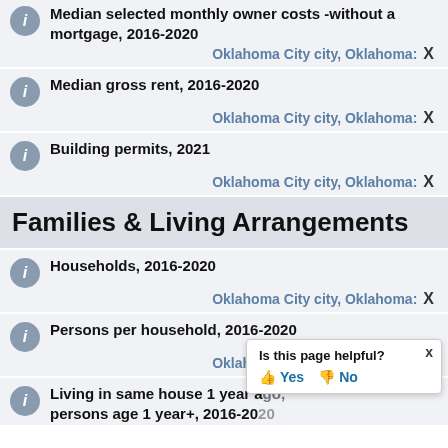Median selected monthly owner costs -without a mortgage, 2016-2020
Oklahoma City city, Oklahoma: X
Median gross rent, 2016-2020
Oklahoma City city, Oklahoma: X
Building permits, 2021
Oklahoma City city, Oklahoma: X
Families & Living Arrangements
Households, 2016-2020
Oklahoma City city, Oklahoma: X
Persons per household, 2016-2020
Oklahoma City city, Oklahoma: X
Living in same house 1 year ago, persons age 1 year+, 2016-2020